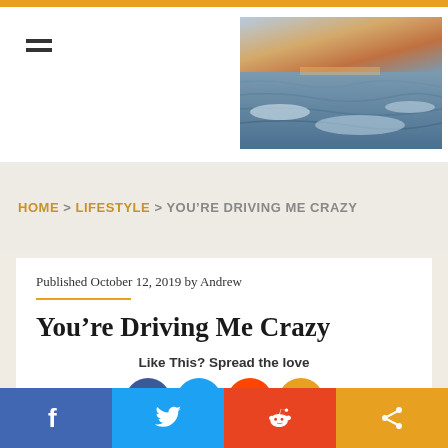[Figure (photo): Coastal/ocean landscape photo with waves and sunset sky]
HOME > LIFESTYLE > YOU'RE DRIVING ME CRAZY
Published October 12, 2019 by Andrew
You're Driving Me Crazy
Like This? Spread the love